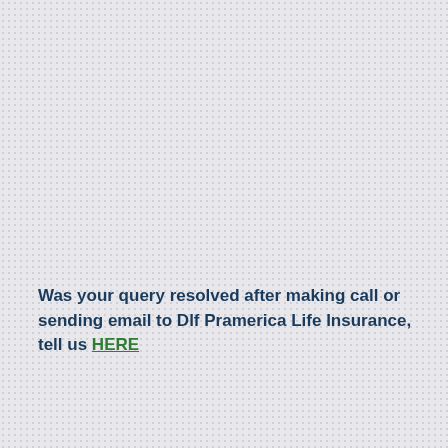Was your query resolved after making call or sending email to Dlf Pramerica Life Insurance, tell us HERE